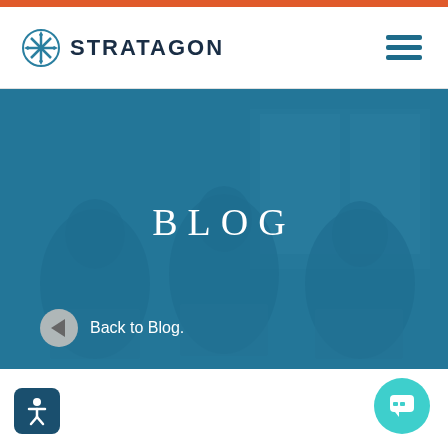[Figure (logo): Stratagon logo with snowflake-like icon and STRATAGON wordmark in dark navy]
[Figure (photo): Hero banner image showing three women working on laptops with a teal/blue overlay, with the word BLOG centered in white serif text and a Back to Blog. navigation link at bottom left]
[Figure (illustration): Teal circular chat/messaging button in lower right corner]
[Figure (illustration): Dark blue rounded square accessibility icon in lower left corner]